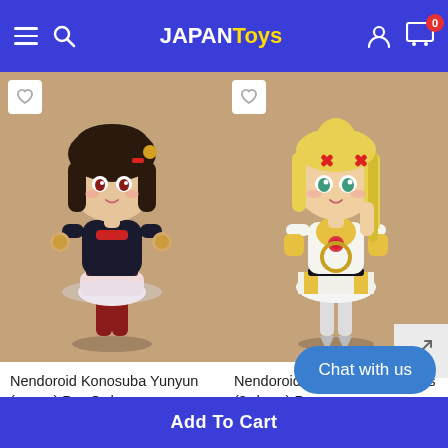JapanToys header navigation with menu, search, logo, user account, and cart (0 items)
[Figure (photo): Nendoroid Konosuba Yunyun figure — dark-haired anime girl chibi figure in black outfit with red accents, holding bells, on beige background]
Nendoroid Konosuba Yunyun (re-run) Pre-Order
$85.00
ADD TO CART
[Figure (photo): Nendoroid Konosuba Darkness figure — blonde anime girl chibi figure in white and yellow armor outfit, on beige background]
Nendoroid Konosuba Darkness (3rd-run) Pre-...
$85.00
Chat with us
Add To Cart